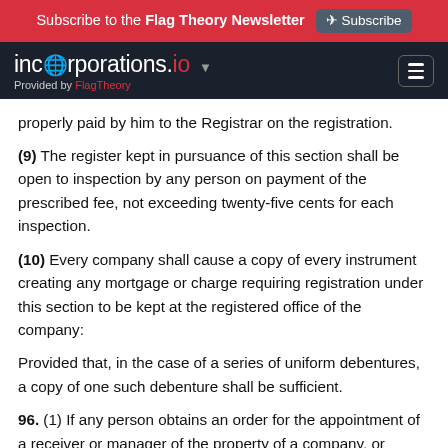Subscribe to the Flag Theory Newsletter  Subscribe
incorporations.io  Provided by FlagTheory
properly paid by him to the Registrar on the registration.
(9) The register kept in pursuance of this section shall be open to inspection by any person on payment of the prescribed fee, not exceeding twenty-five cents for each inspection.
(10) Every company shall cause a copy of every instrument creating any mortgage or charge requiring registration under this section to be kept at the registered office of the company:
Provided that, in the case of a series of uniform debentures, a copy of one such debenture shall be sufficient.
96. (1) If any person obtains an order for the appointment of a receiver or manager of the property of a company, or appoints such a receiver or manager under any powers contained in any instrument, he shall within seven days from the date of the order or of the appointment under the powers contained in the instrument, give notice of the fact to the Registrar, and the